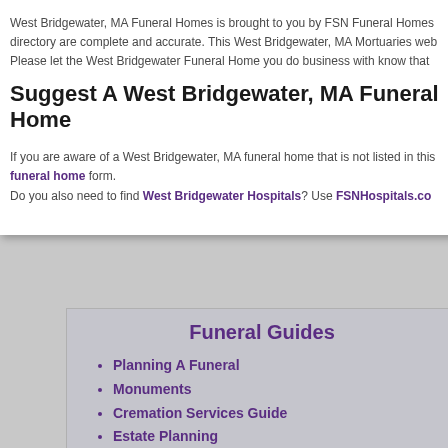West Bridgewater, MA Funeral Homes is brought to you by FSN Funeral Homes directory are complete and accurate. This West Bridgewater, MA Mortuaries web Please let the West Bridgewater Funeral Home you do business with know that
Suggest A West Bridgewater, MA Funeral Home
If you are aware of a West Bridgewater, MA funeral home that is not listed in this funeral home form.
Do you also need to find West Bridgewater Hospitals? Use FSNHospitals.co
Funeral Guides
Planning A Funeral
Monuments
Cremation Services Guide
Estate Planning
Grief Support Resources
Funeral Flower Planning
Funeral Etiquette
Additional R